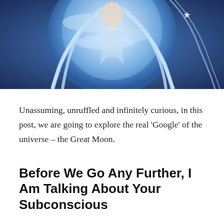[Figure (illustration): Fantasy illustration of a female figure with long flowing blue-white hair and ethereal robes against a large glowing blue moon background]
Unassuming, unruffled and infinitely curious, in this post, we are going to explore the real ‘Google’ of the universe – the Great Moon.
Before We Go Any Further, I Am Talking About Your Subconscious
For the benefit of those who may not have been exposed to QMDJ, allow me a couple of sentences to explain. Qi Men Dun Jia is the Art of War. It is a